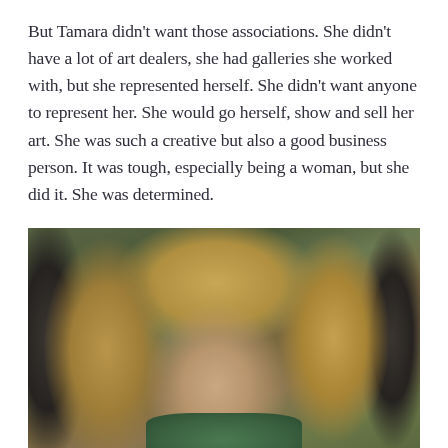But Tamara didn't want those associations. She didn't have a lot of art dealers, she had galleries she worked with, but she represented herself. She didn't want anyone to represent her. She would go herself, show and sell her art. She was such a creative but also a good business person. It was tough, especially being a woman, but she did it. She was determined.
[Figure (photo): Portrait photograph of a blonde woman with long hair, wearing a green scarf, photographed outdoors in front of ornate iron gates with foliage in the background.]